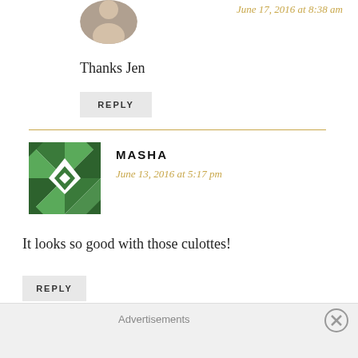June 17, 2016 at 8:38 am
Thanks Jen
REPLY
MASHA
June 13, 2016 at 5:17 pm
It looks so good with those culottes!
REPLY
Advertisements